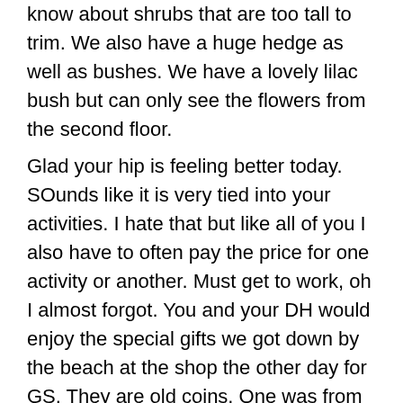know about shrubs that are too tall to trim. We also have a huge hedge as well as bushes. We have a lovely lilac bush but can only see the flowers from the second floor.
Glad your hip is feeling better today. SOunds like it is very tied into your activities. I hate that but like all of you I also have to often pay the price for one activity or another. Must get to work, oh I almost forgot. You and your DH would enjoy the special gifts we got down by the beach at the shop the other day for GS. They are old coins. One was from the Dutch E. Indies trading company and the other British. Both from shipwrecks and found by the diver/treasure seeker who owns the shop. Very interesting with documents, history etc. GS is really into that.